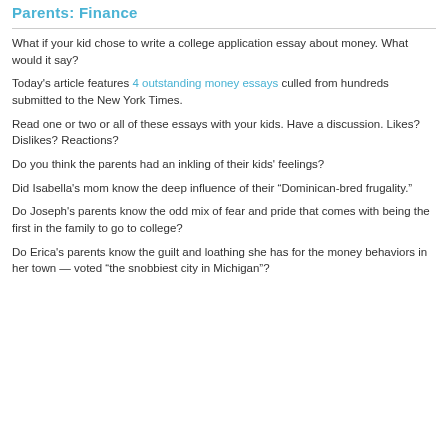Parents: Finance
What if your kid chose to write a college application essay about money. What would it say?
Today's article features 4 outstanding money essays culled from hundreds submitted to the New York Times.
Read one or two or all of these essays with your kids. Have a discussion. Likes? Dislikes? Reactions?
Do you think the parents had an inkling of their kids' feelings?
Did Isabella's mom know the deep influence of their “Dominican-bred frugality.”
Do Joseph's parents know the odd mix of fear and pride that comes with being the first in the family to go to college?
Do Erica's parents know the guilt and loathing she has for the money behaviors in her town — voted “the snobbiest city in Michigan”?